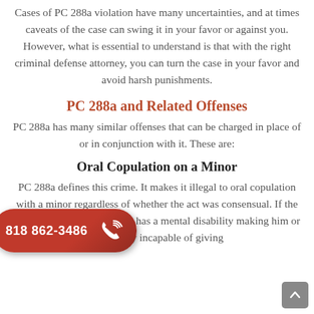Cases of PC 288a violation have many uncertainties, and at times caveats of the case can swing it in your favor or against you. However, what is essential to understand is that with the right criminal defense attorney, you can turn the case in your favor and avoid harsh punishments.
PC 288a and Related Offenses
PC 288a has many similar offenses that can be charged in place of or in conjunction with it. These are:
Oral Copulation on a Minor
PC 288a defines this crime. It makes it illegal to oral copulation with a minor regardless of whether the act was consensual. If the under ages is intoxicated or has a mental disability making him or her legally incapable of giving